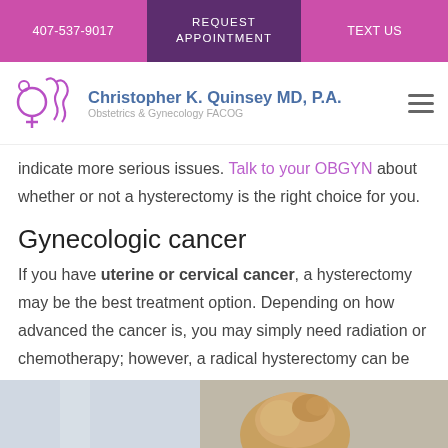407-537-9017 | REQUEST APPOINTMENT | TEXT US
[Figure (logo): Christopher K. Quinsey MD, P.A. logo with female symbol and silhouette graphic in purple. Obstetrics & Gynecology FACOG.]
indicate more serious issues. Talk to your OBGYN about whether or not a hysterectomy is the right choice for you.
Gynecologic cancer
If you have uterine or cervical cancer, a hysterectomy may be the best treatment option. Depending on how advanced the cancer is, you may simply need radiation or chemotherapy; however, a radical hysterectomy can be an effective treatment.
[Figure (photo): Photo of a woman with blonde hair viewed from behind, in a light-colored room.]